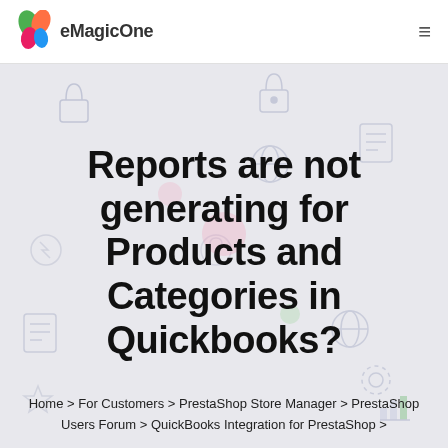eMagicOne
Reports are not generating for Products and Categories in Quickbooks?
Home > For Customers > PrestaShop Store Manager > PrestaShop Users Forum > QuickBooks Integration for PrestaShop >